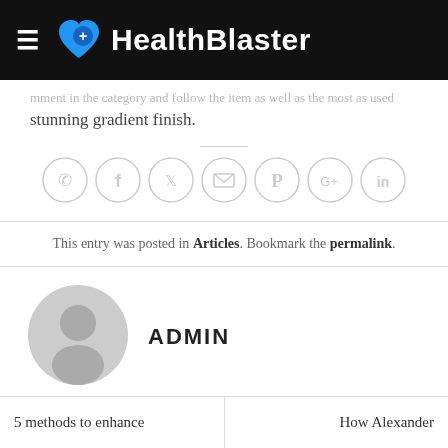HealthBlaster
stunning gradient finish.
[Figure (infographic): Row of 7 social sharing icons in circles: phone, Facebook, Twitter, email, Pinterest, Google+, LinkedIn]
This entry was posted in Articles. Bookmark the permalink.
ADMIN
5 methods to enhance
How Alexander